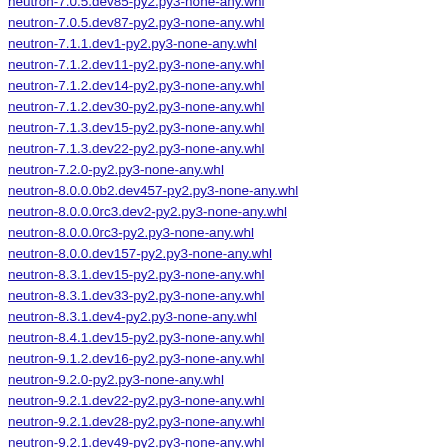neutron-7.0.5.dev85-py2.py3-none-any.whl
neutron-7.0.5.dev87-py2.py3-none-any.whl
neutron-7.1.1.dev1-py2.py3-none-any.whl
neutron-7.1.2.dev11-py2.py3-none-any.whl
neutron-7.1.2.dev14-py2.py3-none-any.whl
neutron-7.1.2.dev30-py2.py3-none-any.whl
neutron-7.1.3.dev15-py2.py3-none-any.whl
neutron-7.1.3.dev22-py2.py3-none-any.whl
neutron-7.2.0-py2.py3-none-any.whl
neutron-8.0.0.0b2.dev457-py2.py3-none-any.whl
neutron-8.0.0.0rc3.dev2-py2.py3-none-any.whl
neutron-8.0.0.0rc3-py2.py3-none-any.whl
neutron-8.0.0.dev157-py2.py3-none-any.whl
neutron-8.3.1.dev15-py2.py3-none-any.whl
neutron-8.3.1.dev33-py2.py3-none-any.whl
neutron-8.3.1.dev4-py2.py3-none-any.whl
neutron-8.4.1.dev15-py2.py3-none-any.whl
neutron-9.1.2.dev16-py2.py3-none-any.whl
neutron-9.2.0-py2.py3-none-any.whl
neutron-9.2.1.dev22-py2.py3-none-any.whl
neutron-9.2.1.dev28-py2.py3-none-any.whl
neutron-9.2.1.dev49-py2.py3-none-any.whl
neutron-9.3.2.dev2-py2.py3-none-any.whl
neutron_dynamic_routing-9.0.0-py2.py3-none-any.whl
neutron_dynamic_routing-9.2.0-py2.py3-none-any.whl